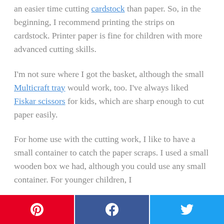an easier time cutting cardstock than paper. So, in the beginning, I recommend printing the strips on cardstock. Printer paper is fine for children with more advanced cutting skills.
I'm not sure where I got the basket, although the small Multicraft tray would work, too. I've always liked Fiskar scissors for kids, which are sharp enough to cut paper easily.
For home use with the cutting work, I like to have a small container to catch the paper scraps. I used a small wooden box we had, although you could use any small container. For younger children, I
[Figure (other): Social sharing buttons: Pinterest (red), Facebook (dark blue), Twitter (light blue)]